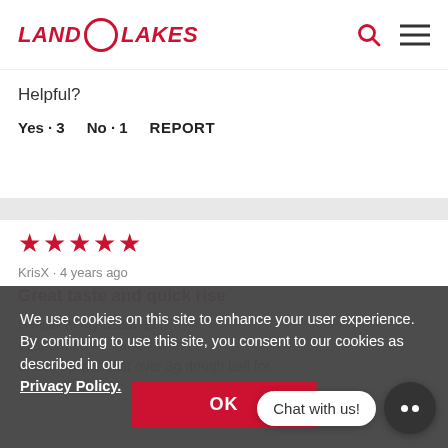[Figure (logo): Land O Lakes logo in red italic text with circle between words]
Helpful?
Yes · 3   No · 1   REPORT
[Figure (other): Five red stars rating]
KrisX · 4 years ago
Great taste and quick rise
Similar to my usual rec... evaporated m... and flavor. I ended up with just over 3g dough ball for
We use cookies on this site to enhance your user experience. By continuing to use this site, you consent to our cookies as described in our Privacy Policy.
OK